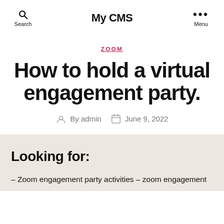My CMS
ZOOM
How to hold a virtual engagement party.
By admin   June 9, 2022
Looking for:
– Zoom engagement party activities – zoom engagement